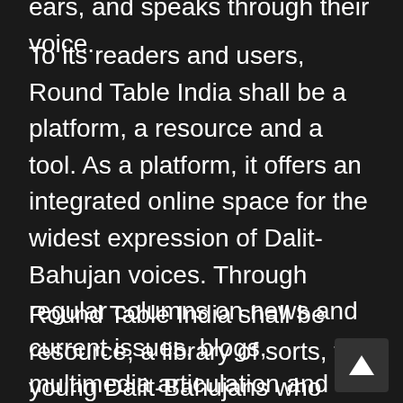ears, and speaks through their voice.
To its readers and users, Round Table India shall be a platform, a resource and a tool. As a platform, it offers an integrated online space for the widest expression of Dalit-Bahujan voices. Through regular columns on news and current issues, blogs, multimedia articulation and even creative writing in the form of poetry, short fiction and non-fiction on subjects of literary interest.
Round Table India shall be resource, a library of sorts, for young Dalit-Bahujans who seek to gain from the knowledge and experience of intellectuals, writers and activists of a similar background. It shall also make available for